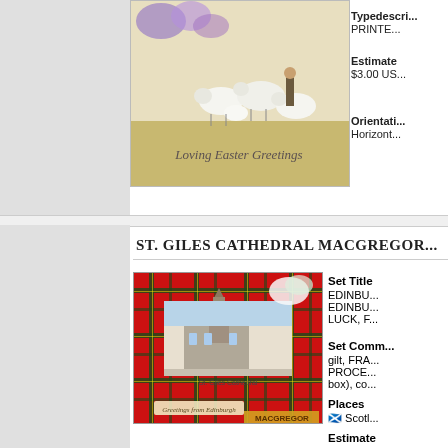[Figure (photo): Vintage Easter postcard showing sheep with a shepherd, flowers, and the text 'Loving Easter Greetings']
Typedescription: PRINTED
Estimated: $3.00 US
Orientation: Horizontal
ST. GILES CATHEDRAL MACGREGOR
[Figure (photo): Vintage postcard featuring St. Giles Cathedral Edinburgh on a red tartan background with flowers and text 'Greetings from Edinburgh', labeled MACGREGOR at bottom]
Set Title
EDINBURGH, EDINBURGH LUCK, F
Set Comments: gilt, PROCESS (box), com
Places
Scotland
Estimate